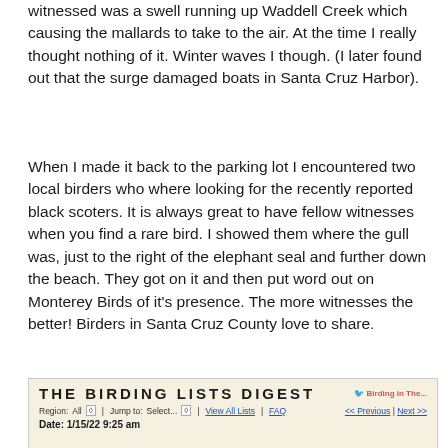witnessed was a swell running up Waddell Creek which causing the mallards to take to the air. At the time I really thought nothing of it. Winter waves I though. (I later found out that the surge damaged boats in Santa Cruz Harbor).
When I made it back to the parking lot I encountered two local birders who where looking for the recently reported black scoters. It is always great to have fellow witnesses when you find a rare bird. I showed them where the gull was, just to the right of the elephant seal and further down the beach. They got on it and then put word out on Monterey Birds of it's presence. The more witnesses the better! Birders in Santa Cruz County love to share.
[Figure (screenshot): Screenshot of 'THE BIRDING LISTS DIGEST' website header showing navigation options for Region, Jump to, View All Lists, FAQ, and Previous/Next links, plus Date: 1/15/22 9:25 am]